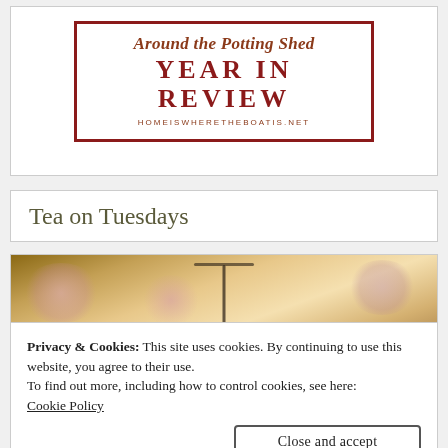[Figure (logo): Around the Potting Shed YEAR IN REVIEW logo with dark red border, italic subtitle and URL homeiswheretheboatis.net]
Tea on Tuesdays
[Figure (photo): Overhead photo of floral china teacup and saucer on a wire rack with floral fabric, text overlay reads TEA ON]
Privacy & Cookies: This site uses cookies. By continuing to use this website, you agree to their use.
To find out more, including how to control cookies, see here:
Cookie Policy
[Figure (photo): Partial bottom strip showing another tea-related photo]